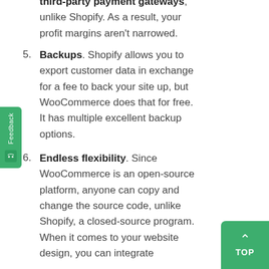third-party payment gateways, unlike Shopify. As a result, your profit margins aren't narrowed.
5. Backups. Shopify allows you to export customer data in exchange for a fee to back your site up, but WooCommerce does that for free. It has multiple excellent backup options.
6. Endless flexibility. Since WooCommerce is an open-source platform, anyone can copy and change the source code, unlike Shopify, a closed-source program. When it comes to your website design, you can integrate